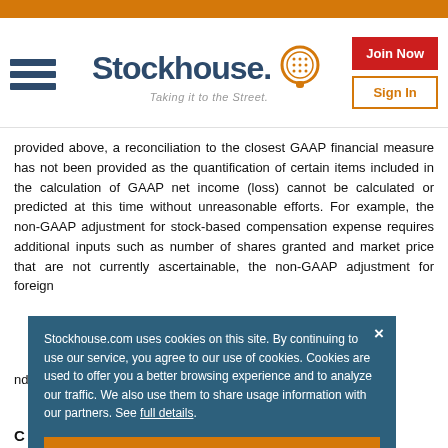[Figure (logo): Stockhouse logo with tagline 'Taking it to the Street.' and a circular orange icon. Navigation hamburger icon on left. 'Join Now' red button and 'Sign In' orange-bordered button on right.]
provided above, a reconciliation to the closest GAAP financial measure has not been provided as the quantification of certain items included in the calculation of GAAP net income (loss) cannot be calculated or predicted at this time without unreasonable efforts. For example, the non-GAAP adjustment for stock-based compensation expense requires additional inputs such as number of shares granted and market price that are not currently ascertainable, the non-GAAP adjustment for foreign ... of ... be ... is ... le ... nd ... s.
Stockhouse.com uses cookies on this site. By continuing to use our service, you agree to our use of cookies. Cookies are used to offer you a better browsing experience and to analyze our traffic. We also use them to share usage information with our partners. See full details.
C